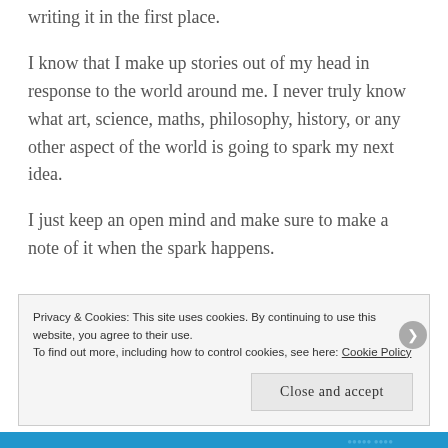writing it in the first place.
I know that I make up stories out of my head in response to the world around me. I never truly know what art, science, maths, philosophy, history, or any other aspect of the world is going to spark my next idea.
I just keep an open mind and make sure to make a note of it when the spark happens.
Privacy & Cookies: This site uses cookies. By continuing to use this website, you agree to their use.
To find out more, including how to control cookies, see here: Cookie Policy